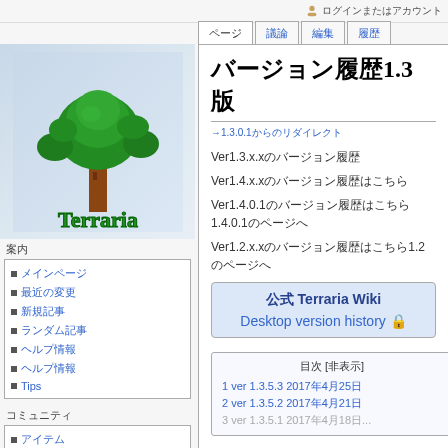ログインまたはアカウント
ページ | 議論 | 編集 | 履歴
[Figure (logo): Terraria game logo with pixel-art tree and green text]
案内
メインページ
最近の変更
新規記事
ランダム記事
ヘルプ情報
ヘルプ情報
Tips
コミュニティ
アイテム
武器
防具武器
アクセサリ
アクセサリ
NPC
ボス攻略
道具
バージョン履歴1.3版
→1.3.0.1からのリダイレクト
Ver1.3.x.xのバージョン履歴
Ver1.4.x.xのバージョン履歴はこちら
Ver1.4.0.1のバージョン履歴はこちら1.4.0.1のページへ
Ver1.2.x.xのバージョン履歴はこちら1.2のページへ
公式 Terraria Wiki
Desktop version history
| 目次 [非表示] |
| --- |
| 1 ver 1.3.5.3 2017年4月25日 |
| 2 ver 1.3.5.2 2017年4月21日 |
| 3 ver 1.3.5.1 2017年4月18日... |